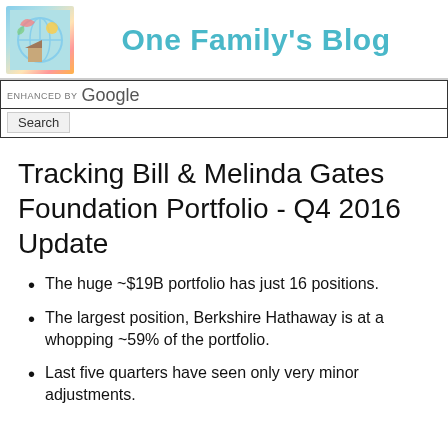One Family's Blog
Tracking Bill & Melinda Gates Foundation Portfolio - Q4 2016 Update
The huge ~$19B portfolio has just 16 positions.
The largest position, Berkshire Hathaway is at a whopping ~59% of the portfolio.
Last five quarters have seen only very minor adjustments.